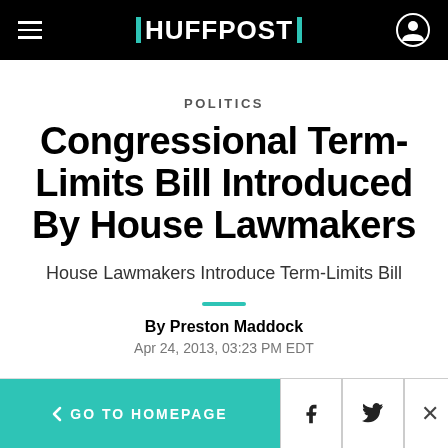HUFFPOST
POLITICS
Congressional Term-Limits Bill Introduced By House Lawmakers
House Lawmakers Introduce Term-Limits Bill
By Preston Maddock
Apr 24, 2013, 03:23 PM EDT
< GO TO HOMEPAGE